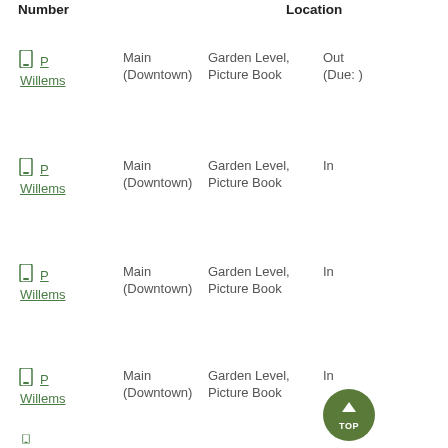Number   Location
P Willems | Main (Downtown) | Garden Level, Picture Book | Out (Due: )
P Willems | Main (Downtown) | Garden Level, Picture Book | In
P Willems | Main (Downtown) | Garden Level, Picture Book | In
P Willems | Main (Downtown) | Garden Level, Picture Book | In